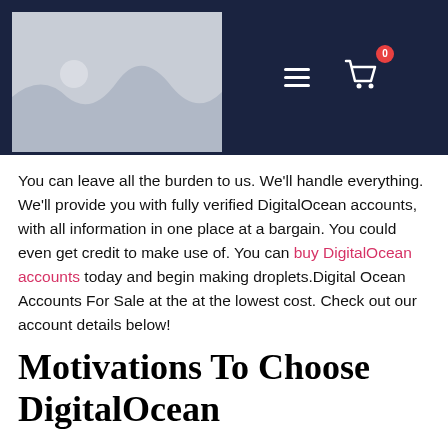[Figure (screenshot): Website header with dark navy background, placeholder image on the left (light grey with mountain/landscape silhouette), hamburger menu icon and shopping cart icon with red badge showing 0 on the right.]
You can leave all the burden to us. We'll handle everything. We'll provide you with fully verified DigitalOcean accounts, with all information in one place at a bargain. You could even get credit to make use of. You can buy DigitalOcean accounts today and begin making droplets.Digital Ocean Accounts For Sale at the at the lowest cost. Check out our account details below!
Motivations To Choose DigitalOcean